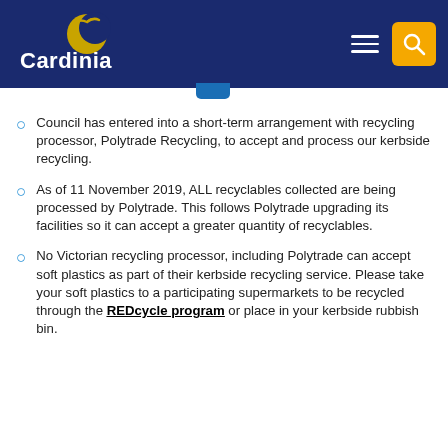[Figure (logo): Cardinia Shire Council logo — gold crescent/bird symbol above 'Cardinia' text in white, on dark navy background]
Council has entered into a short-term arrangement with recycling processor, Polytrade Recycling, to accept and process our kerbside recycling.
As of 11 November 2019, ALL recyclables collected are being processed by Polytrade. This follows Polytrade upgrading its facilities so it can accept a greater quantity of recyclables.
No Victorian recycling processor, including Polytrade can accept soft plastics as part of their kerbside recycling service. Please take your soft plastics to a participating supermarkets to be recycled through the REDcycle program or place in your kerbside rubbish bin.